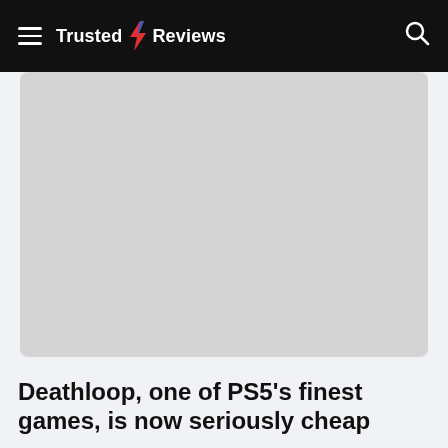Trusted Reviews
[Figure (photo): Large hero image placeholder with light gray background, partially visible with a small icon near top right corner]
Deathloop, one of PS5's finest games, is now seriously cheap
Snatch up one of the most innovative games on the PS5